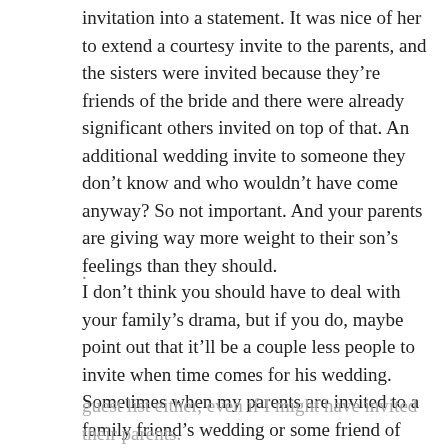invitation into a statement. It was nice of her to extend a courtesy invite to the parents, and the sisters were invited because they’re friends of the bride and there were already significant others invited on top of that. An additional wedding invite to someone they don’t know and who wouldn’t have come anyway? So not important. And your parents are giving way more weight to their son’s feelings than they should.
.
I don’t think you should have to deal with your family’s drama, but if you do, maybe point out that it’ll be a couple less people to invite when time comes for his wedding. Sometimes when my parents are invited to a family friend’s wedding or some friend of mine from growing up’s wedding and I feel a tiny bit excluded, I just remind myself I wouldn’t have put them on my
guest list either, even if I might have invited their parents.